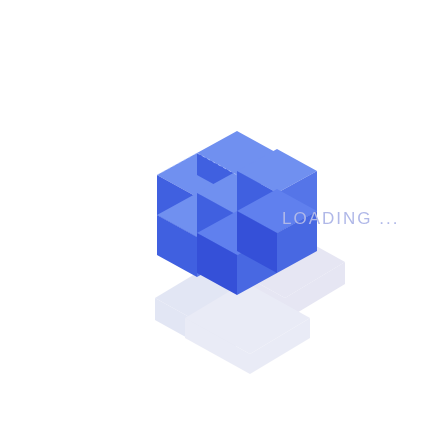[Figure (illustration): Isometric 3D blue cube/plus shape made of interlocking blocks in medium blue, with a soft gray-blue shadow reflection below. Next to the cube is the text 'LOADING ...' in light periwinkle/lavender color.]